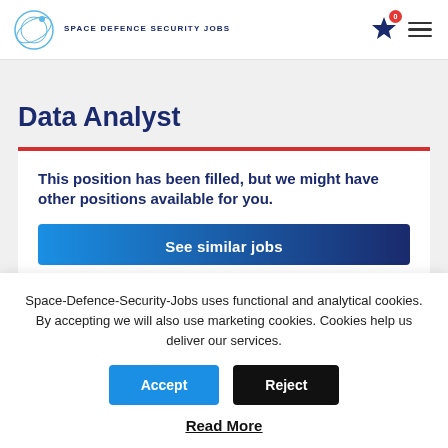SPACE DEFENCE SECURITY JOBS
Data Analyst
This position has been filled, but we might have other positions available for you.
See similar jobs
Space-Defence-Security-Jobs uses functional and analytical cookies. By accepting we will also use marketing cookies. Cookies help us deliver our services.
Accept
Reject
Read More